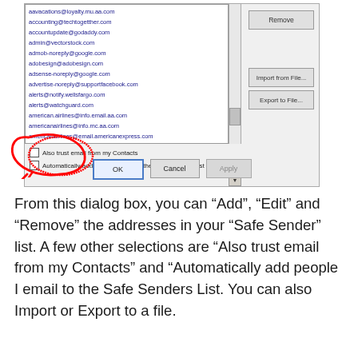[Figure (screenshot): Screenshot of an Outlook Safe Senders dialog box showing a list of email addresses, Remove/Import from File/Export to File buttons, two unchecked checkboxes for 'Also trust email from my Contacts' and 'Automatically add people I email to the Safe Senders List', and OK/Cancel/Apply buttons at the bottom. A red hand-drawn circle highlights the two checkboxes.]
From this dialog box, you can “Add”, “Edit” and “Remove” the addresses in your “Safe Sender” list. A few other selections are “Also trust email from my Contacts” and “Automatically add people I email to the Safe Senders List. You can also Import or Export to a file.